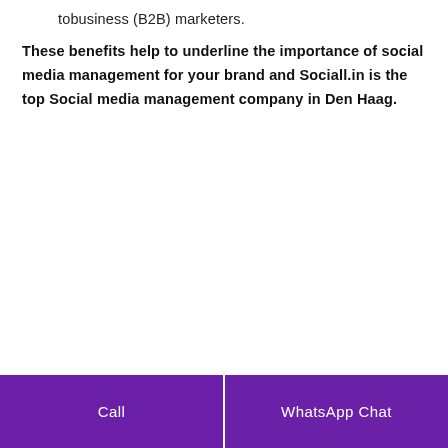tobusiness (B2B) marketers.
These benefits help to underline the importance of social media management for your brand and Sociall.in is the top Social media management company in Den Haag.
Call | WhatsApp Chat